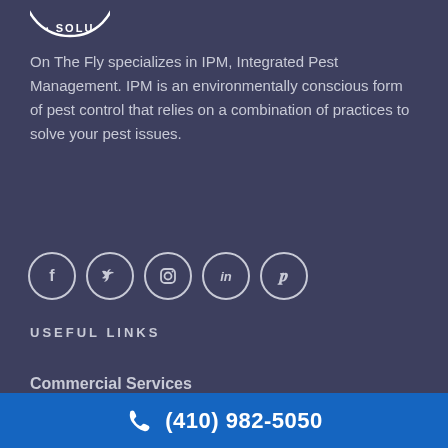[Figure (logo): Partial circular logo at top showing 'SOLU' text arc, white on dark background]
On The Fly specializes in IPM, Integrated Pest Management. IPM is an environmentally conscious form of pest control that relies on a combination of practices to solve your pest issues.
[Figure (infographic): Five social media icon circles in a row: Facebook (f), Twitter (bird), Instagram (camera), LinkedIn (in), Pinterest (p)]
USEFUL LINKS
Commercial Services
(410) 982-5050